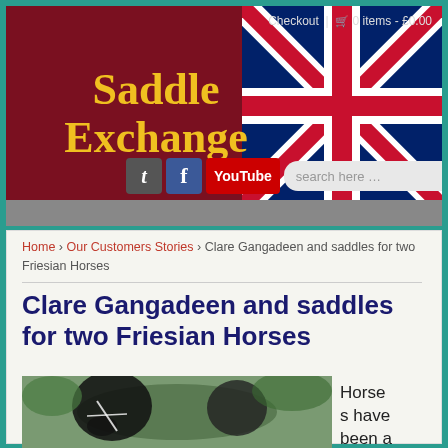[Figure (screenshot): Website header for Saddle Exchange with dark red background, UK flag, yellow site title, social media icons (Twitter, Facebook, YouTube), and search box]
Checkout | 🛒 0 items - £0.00
Saddle Exchange
Home › Our Customers Stories › Clare Gangadeen and saddles for two Friesian Horses
Clare Gangadeen and saddles for two Friesian Horses
Horses have been a large